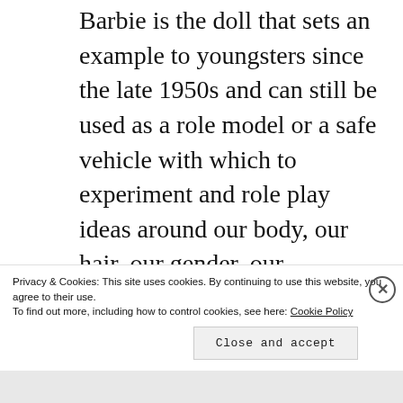Barbie is the doll that sets an example to youngsters since the late 1950s and can still be used as a role model or a safe vehicle with which to experiment and role play ideas around our body, our hair, our gender, our sexuality, our family, our career, and in this case, on the verge of adulthood, our secrets. The falseness of the old Barbie bodies connects to the artist's ongoing pursuit of capturing the essence of a person through drawing.
Privacy & Cookies: This site uses cookies. By continuing to use this website, you agree to their use.
To find out more, including how to control cookies, see here: Cookie Policy
Close and accept